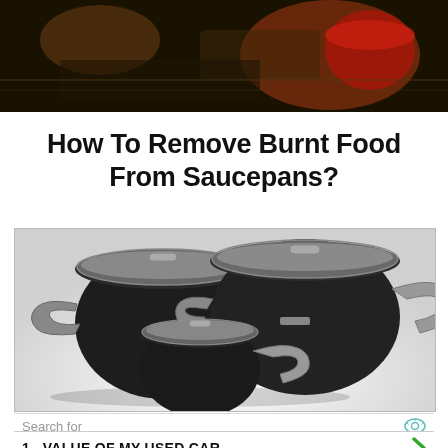[Figure (photo): Top portion of a photo showing cooking-related items on a stovetop, partially cut off at top of page]
How To Remove Burnt Food From Saucepans?
[Figure (photo): Three black non-stick saucepans with glass lids and silver handles arranged together on a white background]
Search for
1.  VALUE OF MY USED CAR
2.  FREE PROJECT PLAN TEMPLATE
Ad | Business Focus